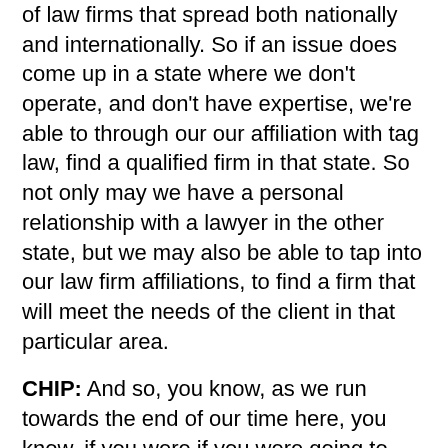of law firms that spread both nationally and internationally. So if an issue does come up in a state where we don't operate, and don't have expertise, we're able to through our our affiliation with tag law, find a qualified firm in that state. So not only may we have a personal relationship with a lawyer in the other state, but we may also be able to tap into our law firm affiliations, to find a firm that will meet the needs of the client in that particular area.
CHIP: And so, you know, as we run towards the end of our time here, you know, if you were if you were going to advise someone on how to find a lawyer that that really meets their need, I mean, would you encourage them to interview a number of different lawyers and law firms before they get started? Rely mostly on personal referrals? What